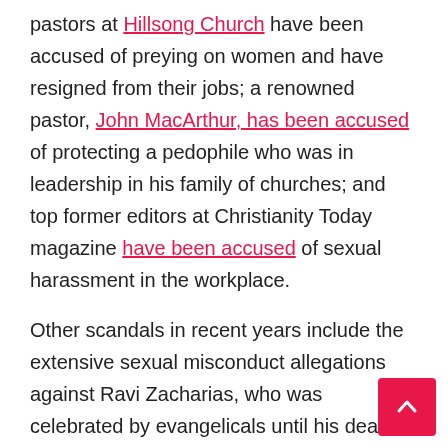pastors at Hillsong Church have been accused of preying on women and have resigned from their jobs; a renowned pastor, John MacArthur, has been accused of protecting a pedophile who was in leadership in his family of churches; and top former editors at Christianity Today magazine have been accused of sexual harassment in the workplace.

Other scandals in recent years include the extensive sexual misconduct allegations against Ravi Zacharias, who was celebrated by evangelicals until his death in 2020 as one of the great champions of the Christian faith. After his death, however, it was reported that he abused his power to solicit and pressure at least 200 women for sexual favors. The Southern Baptist Convention has faced turmoil